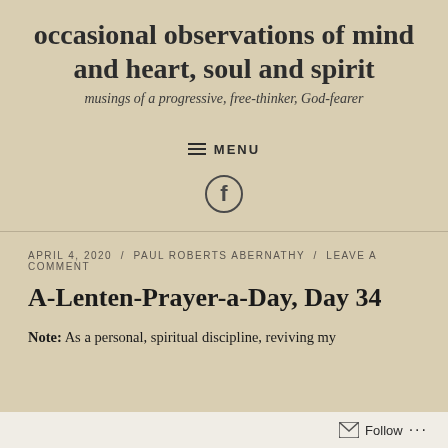occasional observations of mind and heart, soul and spirit
musings of a progressive, free-thinker, God-fearer
MENU
[Figure (logo): Facebook icon circle logo]
APRIL 4, 2020 / PAUL ROBERTS ABERNATHY / LEAVE A COMMENT
A-Lenten-Prayer-a-Day, Day 34
Note: As a personal, spiritual discipline, reviving my
Follow